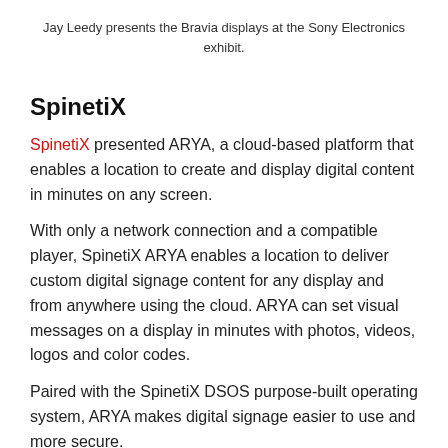Jay Leedy presents the Bravia displays at the Sony Electronics exhibit.
SpinetiX
SpinetiX presented ARYA, a cloud-based platform that enables a location to create and display digital content in minutes on any screen.
With only a network connection and a compatible player, SpinetiX ARYA enables a location to deliver custom digital signage content for any display and from anywhere using the cloud. ARYA can set visual messages on a display in minutes with photos, videos, logos and color codes.
Paired with the SpinetiX DSOS purpose-built operating system, ARYA makes digital signage easier to use and more secure.